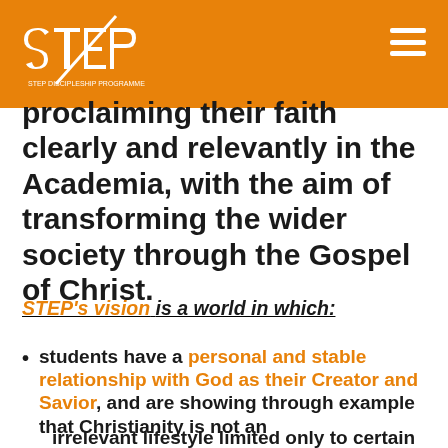[Figure (logo): STEP organization logo in white on orange background header bar]
proclaiming their faith clearly and relevantly in the Academia, with the aim of transforming the wider society through the Gospel of Christ.
STEP's vision is a world in which:
students have a personal and stable relationship with God as their Creator and Savior, and are showing through example that Christianity is not an irrelevant lifestyle limited only to certain...